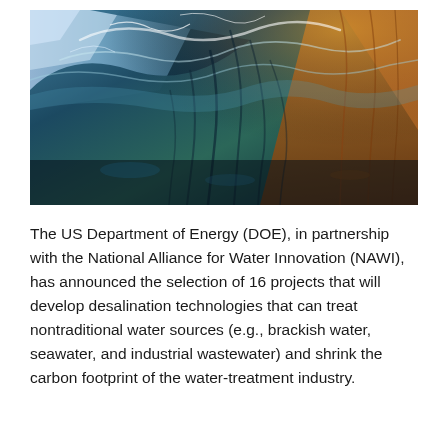[Figure (photo): Close-up underwater/wave photograph showing dramatic blue, teal, and amber-golden water textures — a crashing ocean wave viewed from inside, with light refracting through the water.]
The US Department of Energy (DOE), in partnership with the National Alliance for Water Innovation (NAWI), has announced the selection of 16 projects that will develop desalination technologies that can treat nontraditional water sources (e.g., brackish water, seawater, and industrial wastewater) and shrink the carbon footprint of the water-treatment industry.